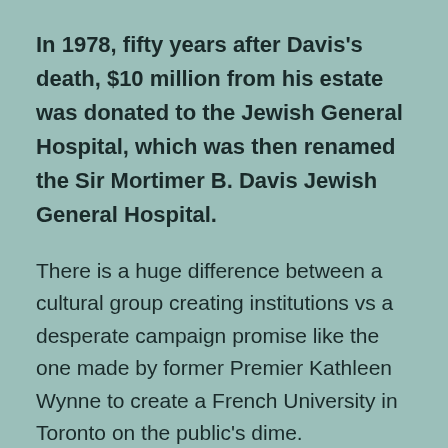In 1978, fifty years after Davis's death, $10 million from his estate was donated to the Jewish General Hospital, which was then renamed the Sir Mortimer B. Davis Jewish General Hospital.
There is a huge difference between a cultural group creating institutions vs a desperate campaign promise like the one made by former Premier Kathleen Wynne to create a French University in Toronto on the public's dime.
This writer will be vilified by the motley crew of nitwits like Dianne Poirier, but as one political